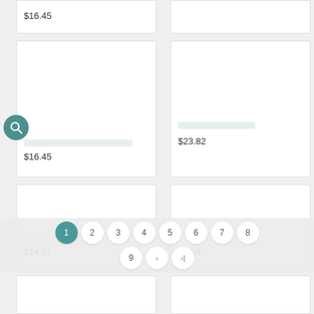$16.45
$16.45
$23.82
$14.07
$3.05
[Figure (screenshot): Pagination control with page numbers 1-9 and navigation arrows, page 1 active in teal]
[Figure (screenshot): Product grid layout with price cards showing $16.45, $23.82, $14.07, $3.05 and a search icon overlay]